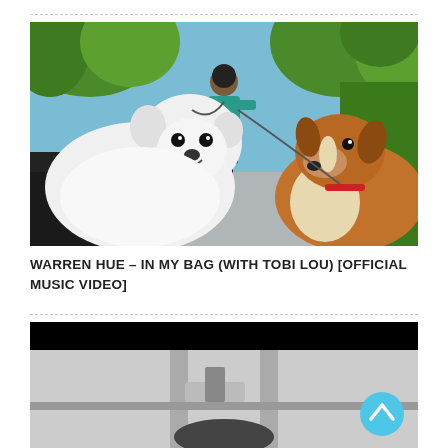[Figure (photo): Outdoor photo of a person in a teal jacket and blue floral skirt walking two dogs — a large white Samoyed on the left and a brown-and-white Collie on the right — on a sunny day with green trees in the background.]
WARREN HUE – IN MY BAG (WITH TOBI LOU) [OFFICIAL MUSIC VIDEO]
[Figure (screenshot): Black and white screenshot of a music video, showing what appears to be a bathroom or kitchen scene. A cyan/light-blue circular scroll-to-top button with an upward chevron arrow is visible in the bottom-right corner.]